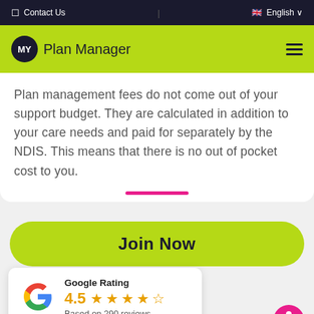Contact Us | English
[Figure (logo): MY Plan Manager logo with dark circular badge and lime green header bar with hamburger menu]
Plan management fees do not come out of your support budget. They are calculated in addition to your care needs and paid for separately by the NDIS. This means that there is no out of pocket cost to you.
[Figure (other): Join Now button - lime green rounded rectangle with bold text]
[Figure (other): Google Rating card showing 4.5 stars based on 290 reviews with Google G logo]